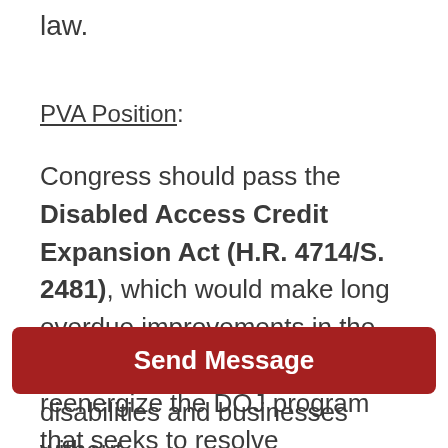law.
PVA Position:
Congress should pass the Disabled Access Credit Expansion Act (H.R. 4714/S. 2481), which would make long overdue improvements in the 1990 access credit and reenergize the DOJ program that seeks to resolve disabilities and businesses without